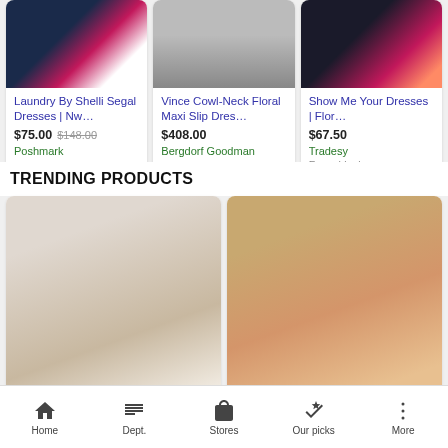[Figure (photo): Laundry By Shelli Segal floral dress product card image]
Laundry By Shelli Segal Dresses | Nw...
$75.00 $148.00
Poshmark
[Figure (photo): Vince Cowl-Neck Floral Maxi Slip Dress product card image]
Vince Cowl-Neck Floral Maxi Slip Dres...
$408.00
Bergdorf Goodman
[Figure (photo): Show Me Your Dresses | Floral product card image]
Show Me Your Dresses | Flor...
$67.50
Tradesy
Free shipping
TRENDING PRODUCTS
[Figure (photo): Woman in sheer floral dress, trending product]
[Figure (photo): Woman in floral print dress, trending product]
Home  Dept.  Stores  Our picks  More